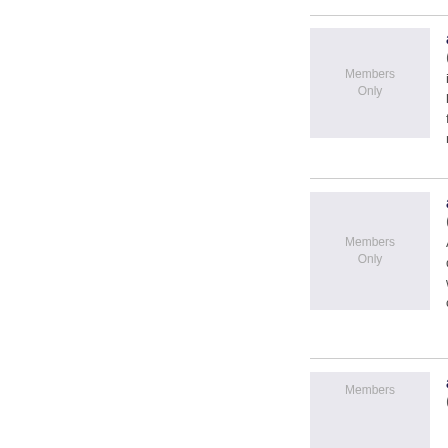author ( 27, 
i would love t...
feeding me lo...
author ( 64, 
A fun date wo...
we can contir...
author ( 40, 
An ideal first d...
tenders) and ...
food and the v...
author ( 46, 
Members Only